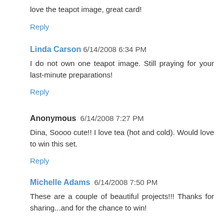love the teapot image, great card!
Reply
Linda Carson 6/14/2008 6:34 PM
I do not own one teapot image. Still praying for your last-minute preparations!
Reply
Anonymous 6/14/2008 7:27 PM
Dina, Soooo cute!! I love tea (hot and cold). Would love to win this set.
Reply
Michelle Adams 6/14/2008 7:50 PM
These are a couple of beautiful projects!!! Thanks for sharing...and for the chance to win!